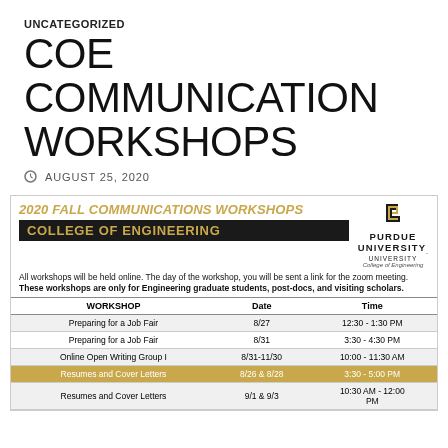UNCATEGORIZED
COE COMMUNICATION WORKSHOPS
AUGUST 25, 2020
[Figure (infographic): 2020 Fall Communications Workshops - College of Engineering flyer with Purdue University logo]
| WORKSHOP | Date | Time |
| --- | --- | --- |
| Preparing for a Job Fair | 8/27 | 12:30 - 1:30 PM |
| Preparing for a Job Fair | 8/31 | 3:30 - 4:30 PM |
| Online Open Writing Group I | 8/31-11/30 | 10:00 - 11:30 AM |
| Resumes and Cover Letters | 8/26 & 8/28 | 3:30 - 5:00 PM |
| Resumes and Cover Letters | 9/1 & 9/3 | 10:30 AM - 12:00 PM |